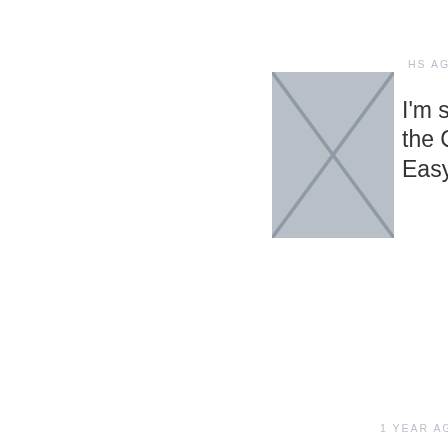HS AGO
[Figure (photo): Grey placeholder image with X cross]
I'm stepping aside as the CEO of Easygenerator
1 YEAR AGO
[Figure (logo): Easygenerator logo with orange flame and dark text 'genel']
Easygenerator: a great place to work and grow
2 YEARS AGO
[Figure (other): Small diagram/infographic thumbnail]
Smarter ways to improve the